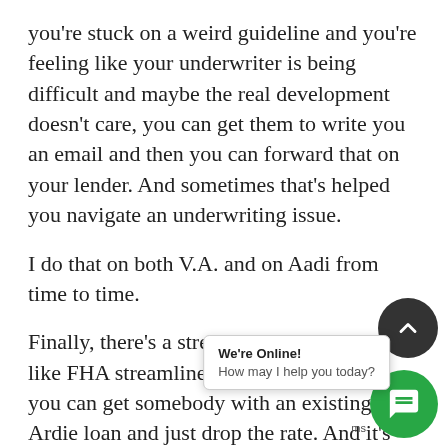you're stuck on a weird guideline and you're feeling like your underwriter is being difficult and maybe the real development doesn't care, you can get them to write you an email and then you can forward that on your lender. And sometimes that's helped you navigate an underwriting issue.
I do that on both V.A. and on Aadi from time to time.
Finally, there's a streamlined option. So just like FHA streamline and V.A. streamline, you can get somebody with an existing Ardie loan and just drop the rate. And it's pretty cool alone. Generally speaking, you got to drop the rate one percent t make it eligible. S R. it's a little bit mor quite as much stuff into the loan as you can on my